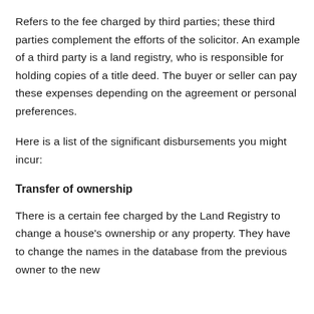Refers to the fee charged by third parties; these third parties complement the efforts of the solicitor. An example of a third party is a land registry, who is responsible for holding copies of a title deed. The buyer or seller can pay these expenses depending on the agreement or personal preferences.
Here is a list of the significant disbursements you might incur:
Transfer of ownership
There is a certain fee charged by the Land Registry to change a house's ownership or any property. They have to change the names in the database from the previous owner to the new